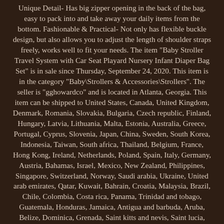Unique Detail- Has big zipper opening in the back of the bag, easy to pack into and take away your daily items from the bottom. Fashionable & Practical- Not only has flexible buckle design, but also allows you to adjust the length of shoulder straps freely, works well to fit your needs. The item "Baby Stroller Travel System with Car Seat Playard Nursery Infant Diaper Bag Set" is in sale since Thursday, September 24, 2020. This item is in the category "Baby\Strollers & Accessories\Strollers". The seller is "gghowardco" and is located in Atlanta, Georgia. This item can be shipped to United States, Canada, United Kingdom, Denmark, Romania, Slovakia, Bulgaria, Czech republic, Finland, Hungary, Latvia, Lithuania, Malta, Estonia, Australia, Greece, Portugal, Cyprus, Slovenia, Japan, China, Sweden, South Korea, Indonesia, Taiwan, South africa, Thailand, Belgium, France, Hong Kong, Ireland, Netherlands, Poland, Spain, Italy, Germany, Austria, Bahamas, Israel, Mexico, New Zealand, Philippines, Singapore, Switzerland, Norway, Saudi arabia, Ukraine, United arab emirates, Qatar, Kuwait, Bahrain, Croatia, Malaysia, Brazil, Chile, Colombia, Costa rica, Panama, Trinidad and tobago, Guatemala, Honduras, Jamaica, Antigua and barbuda, Aruba, Belize, Dominica, Grenada, Saint kitts and nevis, Saint lucia, Montserrat, Turks and caicos islands, Barbados,